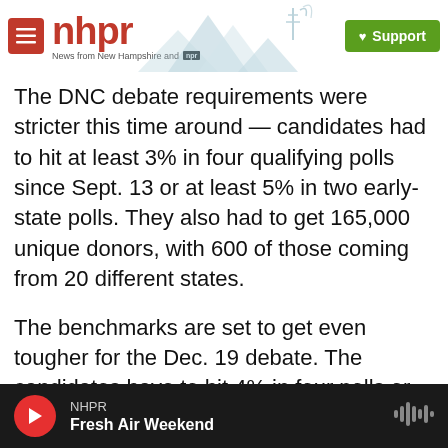nhpr — News from New Hampshire and NPR | Support
The DNC debate requirements were stricter this time around — candidates had to hit at least 3% in four qualifying polls since Sept. 13 or at least 5% in two early-state polls. They also had to get 165,000 unique donors, with 600 of those coming from 20 different states.
The benchmarks are set to get even tougher for the Dec. 19 debate. The candidates have to hit 4% in four polls or 6% in two early-state polls from Oct. 16 through Dec. 12, along with reaching 200,000 unique donors, with 800 of those from 20 different states.
NHPR — Fresh Air Weekend